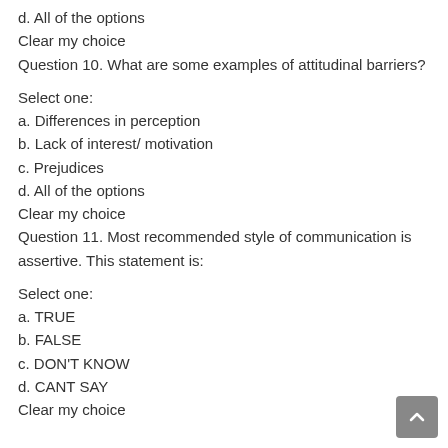d. All of the options
Clear my choice
Question 10. What are some examples of attitudinal barriers?
Select one:
a. Differences in perception
b. Lack of interest/ motivation
c. Prejudices
d. All of the options
Clear my choice
Question 11. Most recommended style of communication is assertive. This statement is:
Select one:
a. TRUE
b. FALSE
c. DON'T KNOW
d. CANT SAY
Clear my choice